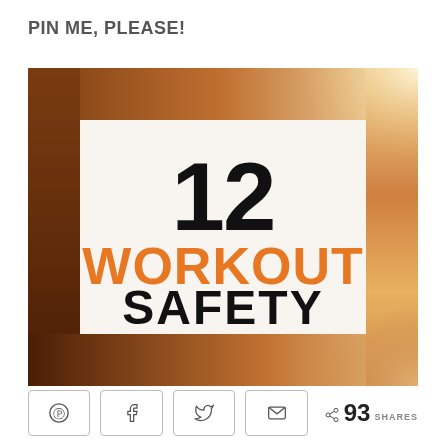PIN ME, PLEASE!
[Figure (infographic): Infographic with a copper/brown gradient border frame. Inside a white background with large bold black text '12' at the top center, large bold orange text 'WORKOUT' in the middle, and large bold black text 'SAFETY' at the bottom.]
< 93 SHARES